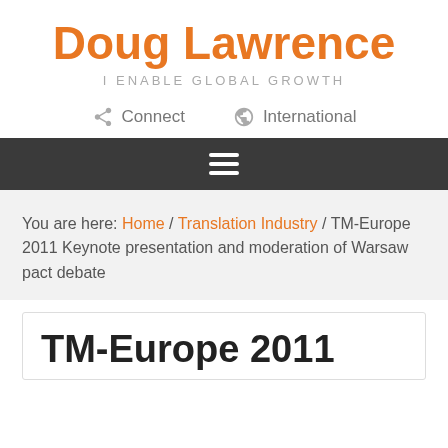Doug Lawrence
I ENABLE GLOBAL GROWTH
Connect   International
≡
You are here: Home / Translation Industry / TM-Europe 2011 Keynote presentation and moderation of Warsaw pact debate
TM-Europe 2011